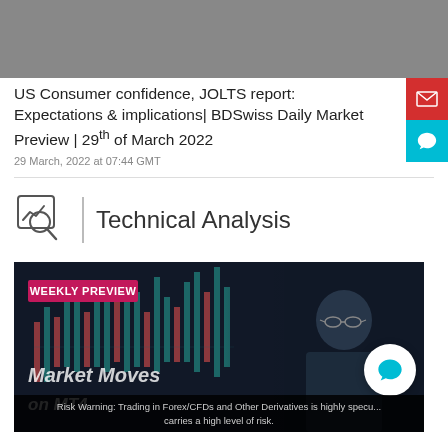[Figure (photo): Gray placeholder image at top of page, partially visible]
US Consumer confidence, JOLTS report: Expectations & implications| BDSwiss Daily Market Preview | 29th of March 2022
29 March, 2022 at 07:44 GMT
Technical Analysis
[Figure (screenshot): Video thumbnail showing Weekly Preview - Market Moves on MT4 with presenter and candlestick chart background]
Risk Warning: Trading in Forex/CFDs and Other Derivatives is highly specu... carries a high level of risk.